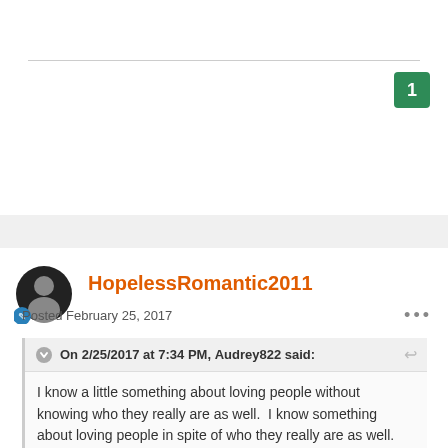1
HopelessRomantic2011
Posted February 25, 2017
On 2/25/2017 at 7:34 PM, Audrey822 said:
I know a little something about loving people without knowing who they really are as well.  I know something about loving people in spite of who they really are as well.  (Same people...LOL)

When my babies were born, I knew absolutely nothing about them.  And yet, I would have gone through a burning building for